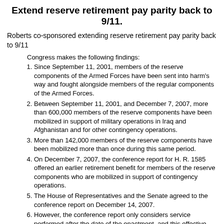Extend reserve retirement pay parity back to 9/11.
Roberts co-sponsored extending reserve retirement pay parity back to 9/11
Congress makes the following findings:
Since September 11, 2001, members of the reserve components of the Armed Forces have been sent into harm's way and fought alongside members of the regular components of the Armed Forces.
Between September 11, 2001, and December 7, 2007, more than 600,000 members of the reserve components have been mobilized in support of military operations in Iraq and Afghanistan and for other contingency operations.
More than 142,000 members of the reserve components have been mobilized more than once during this same period.
On December 7, 2007, the conference report for H. R. 1585 offered an earlier retirement benefit for members of the reserve components who are mobilized in support of contingency operations.
The House of Representatives and the Senate agreed to the conference report on December 14, 2007.
However, the conference report only considers service performed after the date of the enactment, and this effective date fails to recognize the service and sacrifice made by members of the reserve components since September 11, 2001.
Source: Reservists Parity for Patriots Act (S.2836/H.R.4930) 07-S2836 on Dec 19, 2007
Sponsored opposing the United Nations Arms Trade Treaty